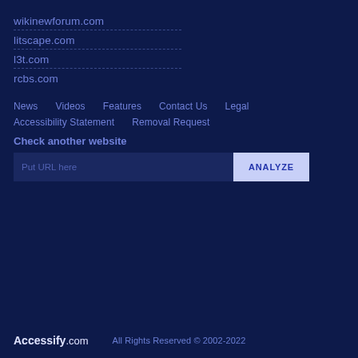wikinewforum.com
litscape.com
l3t.com
rcbs.com
News
Videos
Features
Contact Us
Legal
Accessibility Statement
Removal Request
Check another website
Put URL here
ANALYZE
Accessify.com   All Rights Reserved © 2002-2022